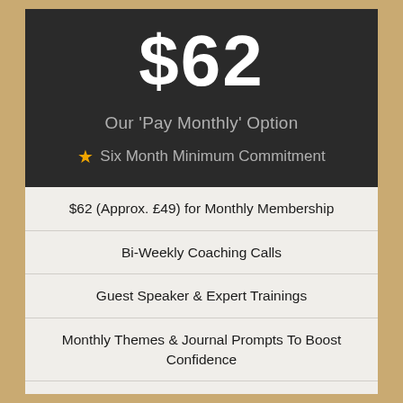$62
Our 'Pay Monthly' Option
★ Six Month Minimum Commitment
$62 (Approx. £49) for Monthly Membership
Bi-Weekly Coaching Calls
Guest Speaker & Expert Trainings
Monthly Themes & Journal Prompts To Boost Confidence
VIP Facebook Group & 24/7 Access on Discord Channel
Exclusive Members Only Library Of Training Videos